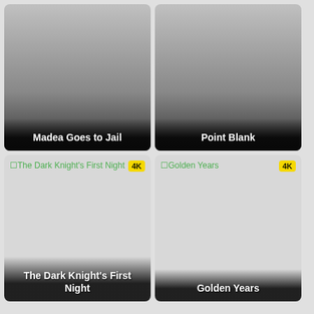[Figure (screenshot): Movie thumbnail card for 'Madea Goes to Jail' with dark gradient overlay and bold white title text at bottom]
[Figure (screenshot): Movie thumbnail card for 'Point Blank' with dark gradient overlay and bold white title text at bottom]
[Figure (screenshot): Movie thumbnail card for 'The Dark Knight's First Night' with 4K badge and broken image icon, bold white title at bottom]
[Figure (screenshot): Movie thumbnail card for 'Golden Years' with 4K badge and broken image icon, bold white title at bottom]